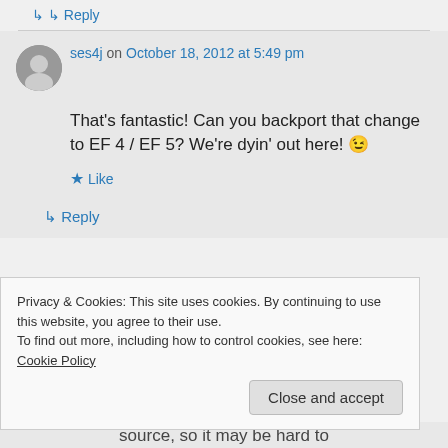↳ Reply
ses4j on October 18, 2012 at 5:49 pm
That's fantastic! Can you backport that change to EF 4 / EF 5? We're dyin' out here! 😉
★ Like
↳ Reply
Privacy & Cookies: This site uses cookies. By continuing to use this website, you agree to their use.
To find out more, including how to control cookies, see here: Cookie Policy
Close and accept
source, so it may be hard to